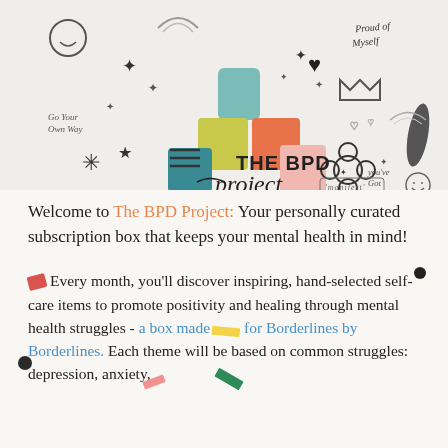[Figure (illustration): The BPD Project logo with colorful illustrated squares (teal, yellow-green, coral/orange, pink) and hand-drawn doodles including rainbows, stars, hearts, crowns, flowers, and handwritten text such as 'Go Your Own Way', 'Proud of Myself', 'You've Got This!', 'Manifest', plus a hamburger menu icon. The brand name 'THE BPD project' is written in mixed typography with an underline flourish.]
Welcome to The BPD Project: Your personally curated subscription box that keeps your mental health in mind!
Every month, you'll discover inspiring, hand-selected self-care items to promote positivity and healing through mental health struggles - a box made for Borderlines by Borderlines. Each theme will be based on common struggles: depression, anxiety,